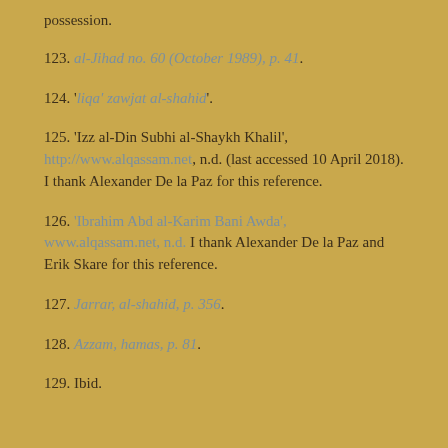possession.
123. al-Jihad no. 60 (October 1989), p. 41.
124. 'liqa' zawjat al-shahid'.
125. 'Izz al-Din Subhi al-Shaykh Khalil', http://www.alqassam.net, n.d. (last accessed 10 April 2018). I thank Alexander De la Paz for this reference.
126. 'Ibrahim Abd al-Karim Bani Awda', www.alqassam.net, n.d. I thank Alexander De la Paz and Erik Skare for this reference.
127. Jarrar, al-shahid, p. 356.
128. Azzam, hamas, p. 81.
129. Ibid.